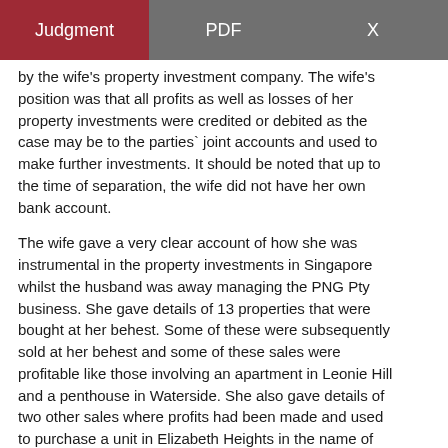Judgment   PDF   X
by the wife's property investment company. The wife's position was that all profits as well as losses of her property investments were credited or debited as the case may be to the parties' joint accounts and used to make further investments. It should be noted that up to the time of separation, the wife did not have her own bank account.
The wife gave a very clear account of how she was instrumental in the property investments in Singapore whilst the husband was away managing the PNG Pty business. She gave details of 13 properties that were bought at her behest. Some of these were subsequently sold at her behest and some of these sales were profitable like those involving an apartment in Leonie Hill and a penthouse in Waterside. She also gave details of two other sales where profits had been made and used to purchase a unit in Elizabeth Heights in the name of the company.